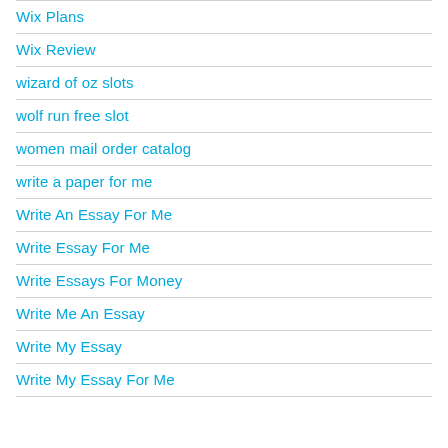Wix Plans
Wix Review
wizard of oz slots
wolf run free slot
women mail order catalog
write a paper for me
Write An Essay For Me
Write Essay For Me
Write Essays For Money
Write Me An Essay
Write My Essay
Write My Essay For Me